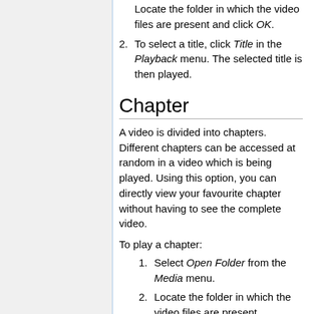Locate the folder in which the video files are present and click OK.
To select a title, click Title in the Playback menu. The selected title is then played.
Chapter
A video is divided into chapters. Different chapters can be accessed at random in a video which is being played. Using this option, you can directly view your favourite chapter without having to see the complete video.
To play a chapter:
Select Open Folder from the Media menu.
Locate the folder in which the video files are present.